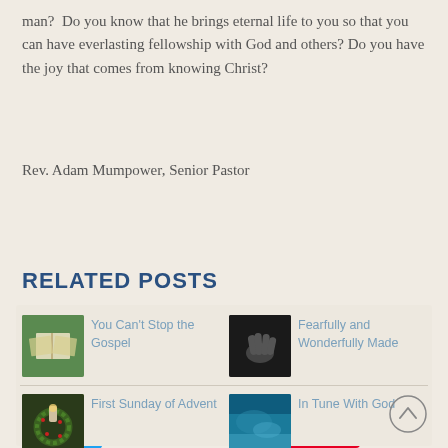man?  Do you know that he brings eternal life to you so that you can have everlasting fellowship with God and others? Do you have the joy that comes from knowing Christ?
Rev. Adam Mumpower, Senior Pastor
[Figure (screenshot): Tweet button (blue rounded) and Save button (red, Pinterest)]
RELATED POSTS
[Figure (photo): Thumbnail of open book outdoors]
You Can't Stop the Gospel
[Figure (photo): Thumbnail of hands in black and white]
Fearfully and Wonderfully Made
[Figure (photo): Thumbnail of Christmas wreath with candle]
First Sunday of Advent
[Figure (photo): Thumbnail of blue water/aerial]
In Tune With God